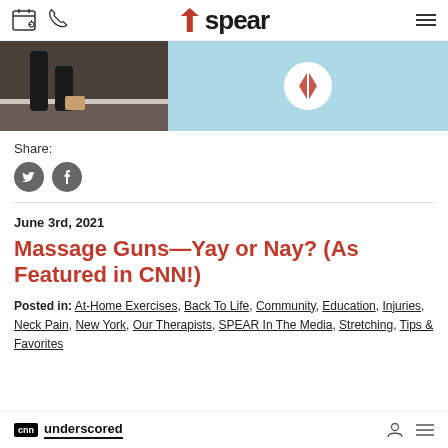Spear — navigation header with calendar, phone, logo, and menu icons
[Figure (photo): Two-panel image: left shows person in black outfit near wall, right shows light blue background with a circular logo (Allbirds or similar)]
Share:
[Figure (infographic): Two social media share buttons: Twitter (bird icon) and Facebook (f icon), both dark grey circles]
June 3rd, 2021
Massage Guns—Yay or Nay? (As Featured in CNN!)
Posted in: At-Home Exercises, Back To Life, Community, Education, Injuries, Neck Pain, New York, Our Therapists, SPEAR In The Media, Stretching, Tips & Favorites
[Figure (logo): CNN Underscored logo bar at the bottom of the page]